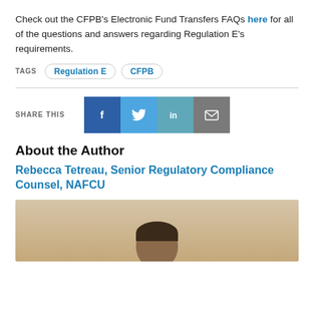Check out the CFPB's Electronic Fund Transfers FAQs here for all of the questions and answers regarding Regulation E's requirements.
TAGS  Regulation E  CFPB
SHARE THIS [Facebook] [Twitter] [LinkedIn] [Email]
About the Author
Rebecca Tetreau, Senior Regulatory Compliance Counsel, NAFCU
[Figure (photo): Portrait photo of Rebecca Tetreau, partially visible, showing top of head with brown hair against a beige/neutral background.]